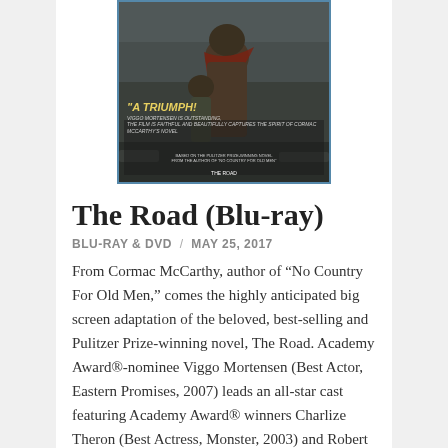[Figure (photo): Movie poster for The Road (Blu-ray) showing two figures (adult and child) in post-apocalyptic setting with text 'A TRIUMPH!' in yellow]
The Road (Blu-ray)
BLU-RAY & DVD / MAY 25, 2017
From Cormac McCarthy, author of “No Country For Old Men,” comes the highly anticipated big screen adaptation of the beloved, best-selling and Pulitzer Prize-winning novel, The Road. Academy Award®-nominee Viggo Mortensen (Best Actor, Eastern Promises, 2007) leads an all-star cast featuring Academy Award® winners Charlize Theron (Best Actress, Monster, 2003) and Robert Duvall (Best Actor, Tender Mercies, 1983), Guy Pearce and young newcomer Kodi Smit-McPhee in this epic post-apocalyptic tale of the survival of a father